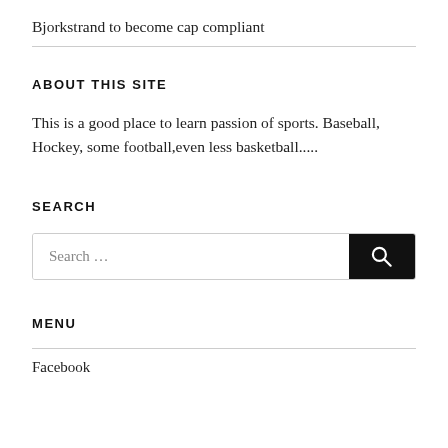Bjorkstrand to become cap compliant
ABOUT THIS SITE
This is a good place to learn passion of sports. Baseball, Hockey, some football,even less basketball.....
SEARCH
[Figure (other): Search input box with a black search button icon]
MENU
Facebook